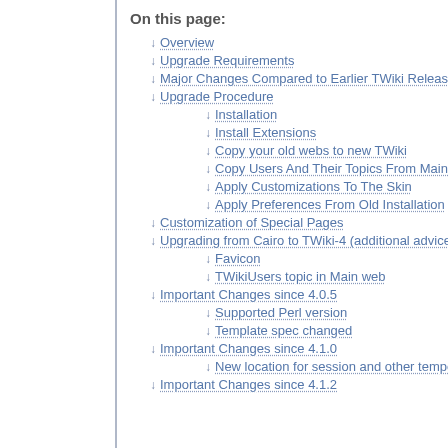On this page:
Overview
Upgrade Requirements
Major Changes Compared to Earlier TWiki Releases
Upgrade Procedure
Installation
Install Extensions
Copy your old webs to new TWiki
Copy Users And Their Topics From Main Web
Apply Customizations To The Skin
Apply Preferences From Old Installation
Customization of Special Pages
Upgrading from Cairo to TWiki-4 (additional advice)
Favicon
TWikiUsers topic in Main web
Important Changes since 4.0.5
Supported Perl version
Template spec changed
Important Changes since 4.1.0
New location for session and other temporary files
Important Changes since 4.1.2